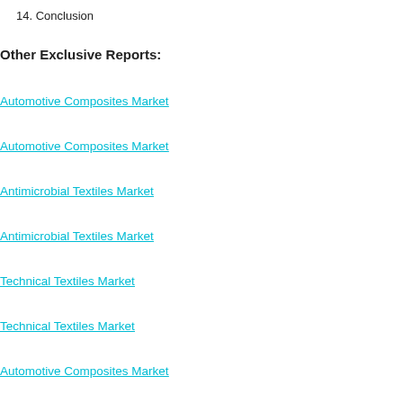14. Conclusion
Other Exclusive Reports:
Automotive Composites Market
Automotive Composites Market
Antimicrobial Textiles Market
Antimicrobial Textiles Market
Technical Textiles Market
Technical Textiles Market
Automotive Composites Market